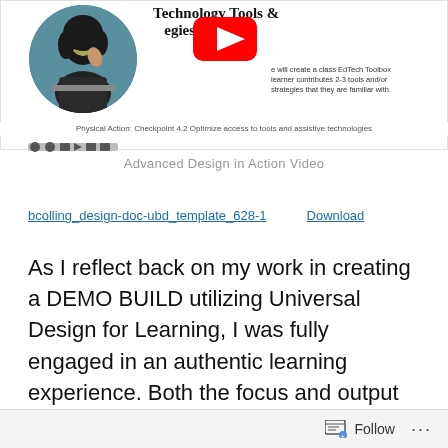[Figure (screenshot): Thumbnail image showing a woman smiling near a laptop with a circular crop, alongside a YouTube play button overlay and bold serif title 'Technology Tools & Strategies' with description text about EdTech Toolbox.]
Physical Action: Checkpoint 4.2 Optimize access to tools and assistive technologies
[Figure (screenshot): Media player control bar with small icons]
Advanced Design in Action Video
bcolling_design-doc-ubd_template_628-1   Download
As I reflect back on my work in creating a DEMO BUILD utilizing Universal Design for Learning, I was fully engaged in an authentic learning experience. Both the focus and output for the DEMO BUILD were authentic. Ensuring that the